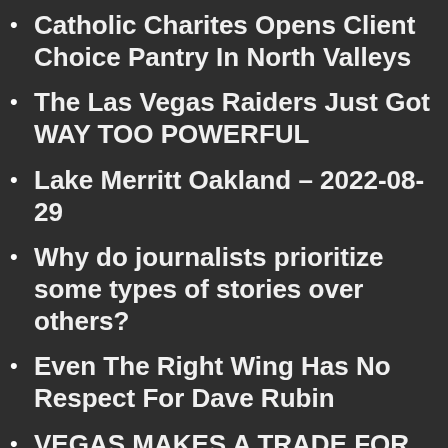Catholic Charites Opens Client Choice Pantry In North Valleys
The Las Vegas Raiders Just Got WAY TOO POWERFUL
Lake Merritt Oakland – 2022-08-29
Why do journalists prioritize some types of stories over others?
Even The Right Wing Has No Respect For Dave Rubin
VEGAS MAKES A TRADE FOR A GOALIE W/ SAN JOSE SHARKS (ADIN HILL TO GOLDEN KNIGHTS) 2022 NHL RUMOURS